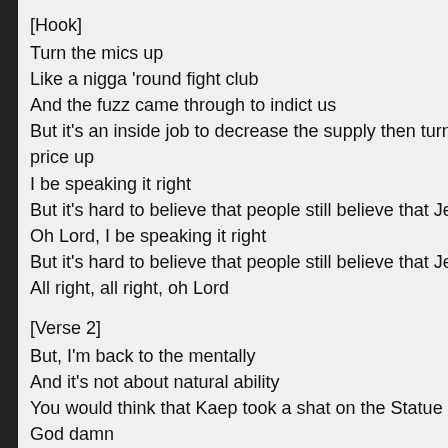[Hook]
Turn the mics up
Like a nigga 'round fight club
And the fuzz came through to indict us
But it's an inside job to decrease the supply then turn arou
price up
I be speaking it right
But it's hard to believe that people still believe that Jesus is
Oh Lord, I be speaking it right
But it's hard to believe that people still believe that Jesus is
All right, all right, oh Lord
[Verse 2]
But, I'm back to the mentally
And it's not about natural ability
You would think that Kaep took a shat on the Statue of Lib
God damn